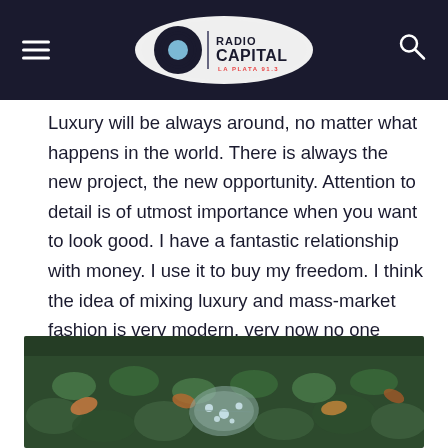Radio Capital La Plata 91.3
Luxury will be always around, no matter what happens in the world. There is always the new project, the new opportunity. Attention to detail is of utmost importance when you want to look good. I have a fantastic relationship with money. I use it to buy my freedom. I think the idea of mixing luxury and mass-market fashion is very modern, very now no one wears head-to-toe designer anymore. I think the idea of mixing luxury and mass-market fashion is very modern, very now no one wears head-to-toe designer anymore.
[Figure (photo): Close-up photo of green mossy plants and autumn leaves with water droplets on a leaf in the foreground]